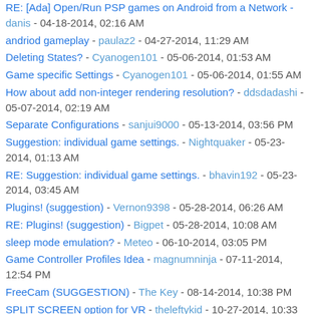RE: [Ada] Open/Run PSP games on Android from a Network - danis - 04-18-2014, 02:16 AM
andriod gameplay - paulaz2 - 04-27-2014, 11:29 AM
Deleting States? - Cyanogen101 - 05-06-2014, 01:53 AM
Game specific Settings - Cyanogen101 - 05-06-2014, 01:55 AM
How about add non-integer rendering resolution? - ddsdadashi - 05-07-2014, 02:19 AM
Separate Configurations - sanjui9000 - 05-13-2014, 03:56 PM
Suggestion: individual game settings. - Nightquaker - 05-23-2014, 01:13 AM
RE: Suggestion: individual game settings. - bhavin192 - 05-23-2014, 03:45 AM
Plugins! (suggestion) - Vernon9398 - 05-28-2014, 06:26 AM
RE: Plugins! (suggestion) - Bigpet - 05-28-2014, 10:08 AM
sleep mode emulation? - Meteo - 06-10-2014, 03:05 PM
Game Controller Profiles Idea - magnumninja - 07-11-2014, 12:54 PM
FreeCam (SUGGESTION) - The Key - 08-14-2014, 10:38 PM
SPLIT SCREEN option for VR - theleftykid - 10-27-2014, 10:33 AM
Important Request - Code Locking Interval aka Cheat Hz - Melkor - 01-18-2015, 04:09 PM
RE: PPSSPP Feature Request Page - Vovan400 - 01-19-2015, 03:15 PM
RE: PPSSPP Feature Request Page - Melkor - 01-21-2015, 09:51 PM
Please make "Code Locking Interval" Option!!! - Melkor - 01-25-2015,